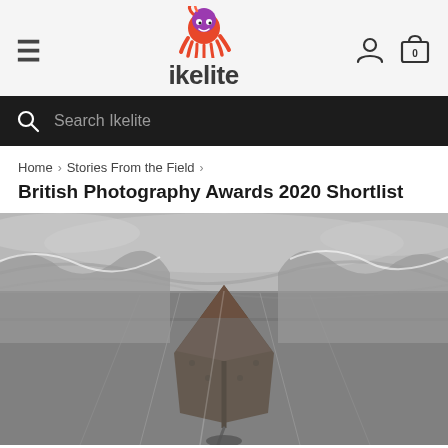[Figure (logo): Ikelite logo with octopus graphic above the word ikelite in dark gray bold text]
Search Ikelite
Home › Stories From the Field ›
British Photography Awards 2020 Shortlist
[Figure (photo): Black and white underwater/surface split shot of a boat hull viewed from below, with a diver visible and dramatic water and sky reflections]